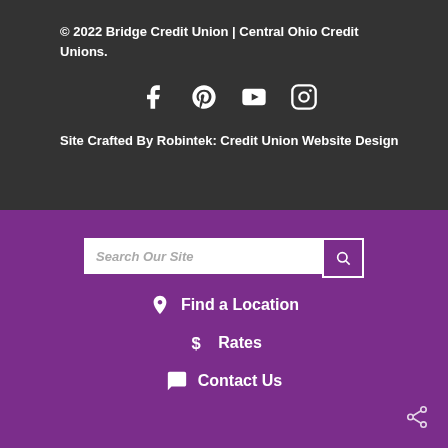© 2022 Bridge Credit Union | Central Ohio Credit Unions.
[Figure (infographic): Social media icons: Facebook, Pinterest, YouTube, Instagram]
Site Crafted By Robintek: Credit Union Website Design
Search Our Site
Find a Location
Rates
Contact Us